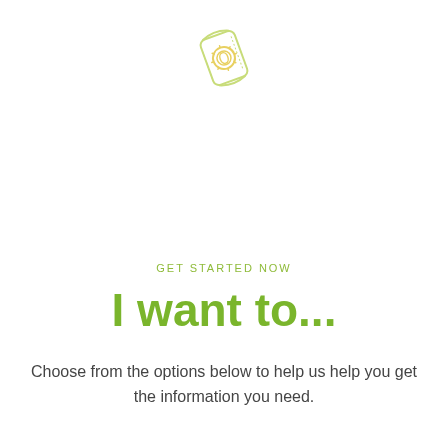[Figure (illustration): A small illustrated icon of a snack/food pouch/packet, drawn in light yellow-green outline style, slightly tilted, with a sunflower or flower emblem on it.]
GET STARTED NOW
I want to...
Choose from the options below to help us help you get the information you need.